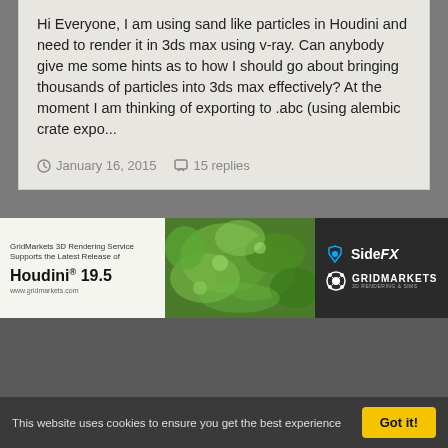Hi Everyone, I am using sand like particles in Houdini and need to render it in 3ds max using v-ray. Can anybody give me some hints as to how I should go about bringing thousands of particles into 3ds max effectively? At the moment I am thinking of exporting to .abc (using alembic crate expo...
January 16, 2015   15 replies
[Figure (illustration): GridMarkets 3D Rendering Service advertisement banner for Houdini 19.5, featuring green leafy vegetable imagery in the center, SideFX and GridMarkets logos on the right]
Theme   Contact Us
odjforce
This website uses cookies to ensure you get the best experience